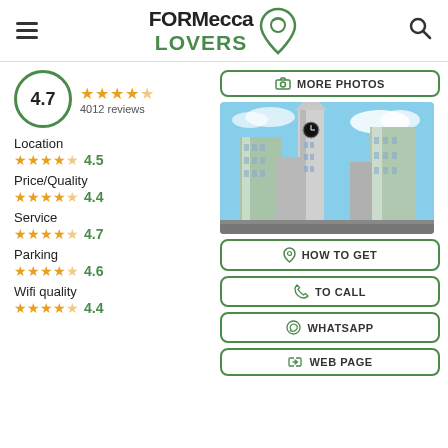FORMecca LOVERS
4.7 — 4012 reviews
Location ★★★★½ 4.5
Price/Quality ★★★★½ 4.4
Service ★★★★½ 4.7
Parking ★★★★½ 4.6
Wifi quality ★★★★½ 4.4
[Figure (photo): Tall skyscraper buildings in Mecca including the Abraj Al-Bait clock tower against a blue sky]
MORE PHOTOS
HOW TO GET
TO CALL
WHATSAPP
WEB PAGE